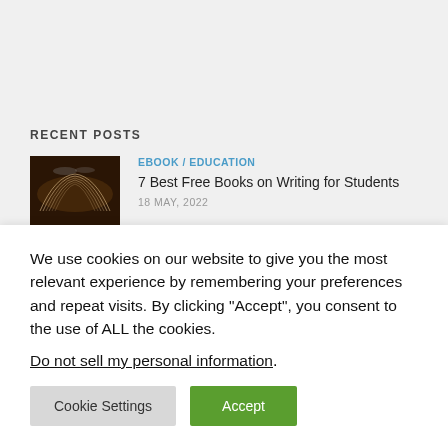RECENT POSTS
EBOOK / EDUCATION
7 Best Free Books on Writing for Students
18 MAY, 2022
[Figure (photo): Open book with pages fanned out, dark brown tones]
EBOOK / TRAVEL
[Figure (photo): Partial thumbnail with yellow/sandy tones, travel related]
We use cookies on our website to give you the most relevant experience by remembering your preferences and repeat visits. By clicking “Accept”, you consent to the use of ALL the cookies.
Do not sell my personal information.
Cookie Settings
Accept